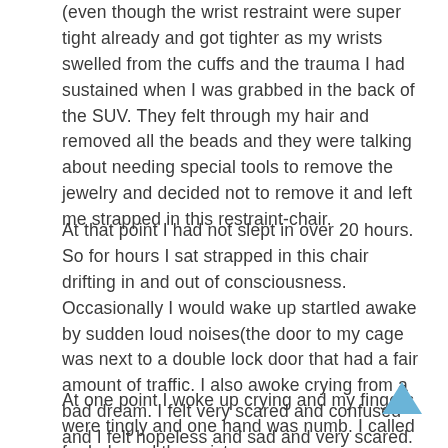(even though the wrist restraint were super tight already and got tighter as my wrists swelled from the cuffs and the trauma I had sustained when I was grabbed in the back of the SUV. They felt through my hair and removed all the beads and they were talking about needing special tools to remove the jewelry and decided not to remove it and left me strapped in this restraint-chair.
At that point I had not slept in over 20 hours. So for hours I sat strapped in this chair drifting in and out of consciousness. Occasionally I would wake up startled awake by sudden loud noises(the door to my cage was next to a double lock door that had a fair amount of traffic. I also awoke crying from a bad dream. I felt very scared and confused and I felt hopeless and sad and very scared.
At one point I woke up crying and my fingers were tingly and one hand was numb. I called for help and the wrists